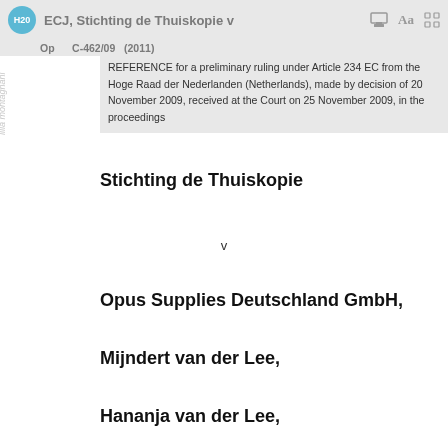ECJ, Stichting de Thuiskopie v
REFERENCE for a preliminary ruling under Article 234 EC from the Hoge Raad der Nederlanden (Netherlands), made by decision of 20 November 2009, received at the Court on 25 November 2009, in the proceedings
Stichting de Thuiskopie
v
Opus Supplies Deutschland GmbH,
Mijndert van der Lee,
Hananja van der Lee,
THE COURT (Third Chamber),